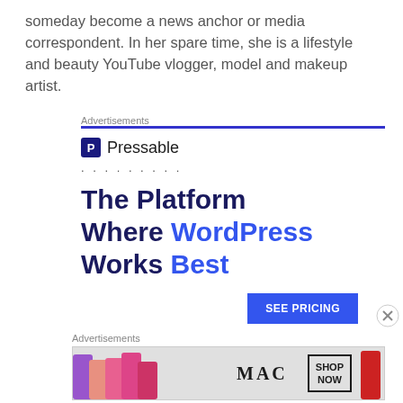someday become a news anchor or media correspondent. In her spare time, she is a lifestyle and beauty YouTube vlogger, model and makeup artist.
Advertisements
[Figure (screenshot): Pressable advertisement: logo with 'P' icon and 'Pressable' name, dots, large text 'The Platform Where WordPress Works Best', blue 'SEE PRICING' button]
Advertisements
[Figure (photo): MAC cosmetics banner advertisement showing colorful lipsticks, MAC logo, and 'SHOP NOW' box]